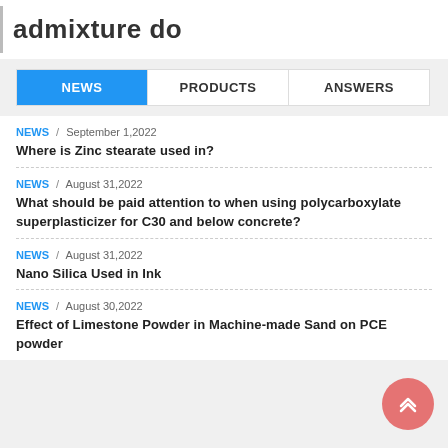admixture do
NEWS | PRODUCTS | ANSWERS
NEWS / September 1,2022
Where is Zinc stearate used in?
NEWS / August 31,2022
What should be paid attention to when using polycarboxylate superplasticizer for C30 and below concrete?
NEWS / August 31,2022
Nano Silica Used in Ink
NEWS / August 30,2022
Effect of Limestone Powder in Machine-made Sand on PCE powder